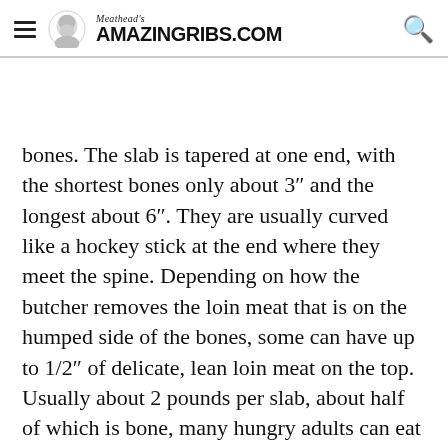Meathead's AmazingRibs.com
bones. The slab is tapered at one end, with the shortest bones only about 3″ and the longest about 6″. They are usually curved like a hockey stick at the end where they meet the spine. Depending on how the butcher removes the loin meat that is on the humped side of the bones, some can have up to 1/2″ of delicate, lean loin meat on the top. Usually about 2 pounds per slab, about half of which is bone, many hungry adults can eat a whole slab of baby backs. Because they weigh less than spareribs, they cook faster. In 2013 I began to hear about “boneless” baby back ribs. They are discussed below.